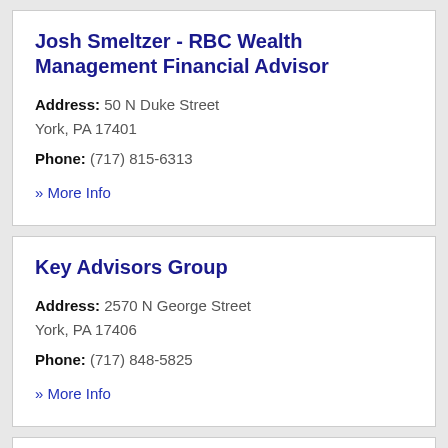Josh Smeltzer - RBC Wealth Management Financial Advisor
Address: 50 N Duke Street York, PA 17401
Phone: (717) 815-6313
» More Info
Key Advisors Group
Address: 2570 N George Street York, PA 17406
Phone: (717) 848-5825
» More Info